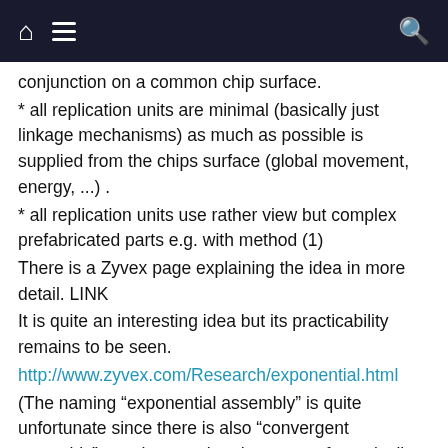Navigation bar with home, menu, and search icons
conjunction on a common chip surface.
* all replication units are minimal (basically just linkage mechanisms) as much as possible is supplied from the chips surface (global movement, energy, ...) .
* all replication units use rather view but complex prefabricated parts e.g. with method (1)
There is a Zyvex page explaining the idea in more detail. LINK
It is quite an interesting idea but its practicability remains to be seen.
http://www.zyvex.com/Research/exponential.html
(The naming “exponential assembly” is quite unfortunate since there is also “convergent assembly” an other unrelated concept of atomically precise manufacturing.)